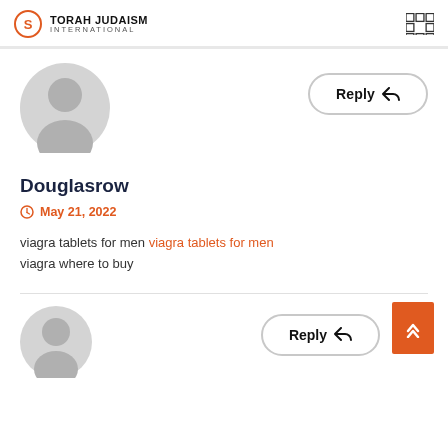TORAH JUDAISM INTERNATIONAL
[Figure (illustration): Gray default user avatar circle icon]
Reply
Douglasrow
May 21, 2022
viagra tablets for men viagra tablets for men viagra where to buy
[Figure (illustration): Gray default user avatar circle icon (partial, second comment)]
Reply